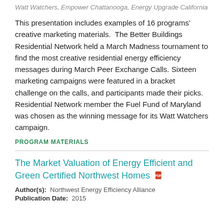Watt Watchers, Empower Chattanooga, Energy Upgrade California
This presentation includes examples of 16 programs' creative marketing materials.  The Better Buildings Residential Network held a March Madness tournament to find the most creative residential energy efficiency messages during March Peer Exchange Calls. Sixteen marketing campaigns were featured in a bracket challenge on the calls, and participants made their picks. Residential Network member the Fuel Fund of Maryland was chosen as the winning message for its Watt Watchers campaign.
PROGRAM MATERIALS
The Market Valuation of Energy Efficient and Green Certified Northwest Homes
Author(s):  Northwest Energy Efficiency Alliance
Publication Date:  2015